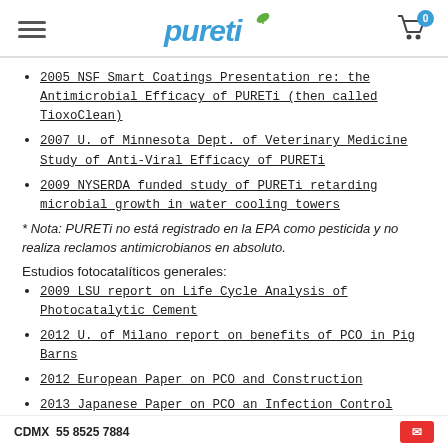pureti - navigation header with hamburger menu, pureti logo, and cart icon showing 0
2005 NSF Smart Coatings Presentation re: the Antimicrobial Efficacy of PURETi (then called TioxoClean)
2007 U. of Minnesota Dept. of Veterinary Medicine Study of Anti-Viral Efficacy of PURETi
2009 NYSERDA funded study of PURETi retarding microbial growth in water cooling towers
* Nota: PURETi no está registrado en la EPA como pesticida y no realiza reclamos antimicrobianos en absoluto.
Estudios fotocatalíticos generales:
2009 LSU report on Life Cycle Analysis of Photocatalytic Cement
2012 U. of Milano report on benefits of PCO in Pig Barns
2012 European Paper on PCO and Construction
2013 Japanese Paper on PCO an Infection Control
CDMX 55 8525 7884